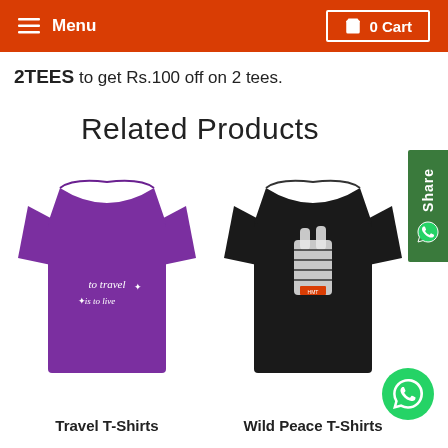Menu   0 Cart
2TEES to get Rs.100 off on 2 tees.
Related Products
[Figure (photo): Purple t-shirt with cursive text 'to travel is to live']
Travel T-Shirts
[Figure (photo): Black t-shirt with a peace sign hand gesture graphic in decorative pattern]
Wild Peace T-Shirts